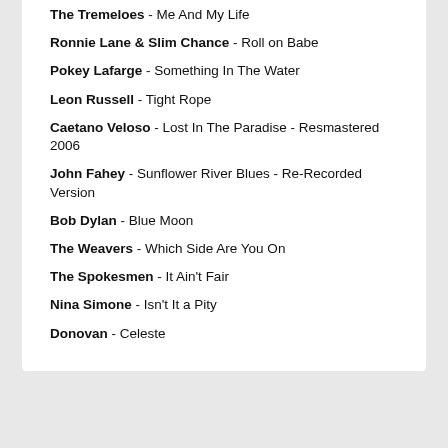The Tremeloes - Me And My Life
Ronnie Lane & Slim Chance - Roll on Babe
Pokey Lafarge - Something In The Water
Leon Russell - Tight Rope
Caetano Veloso - Lost In The Paradise - Resmastered 2006
John Fahey - Sunflower River Blues - Re-Recorded Version
Bob Dylan - Blue Moon
The Weavers - Which Side Are You On
The Spokesmen - It Ain't Fair
Nina Simone - Isn't It a Pity
Donovan - Celeste